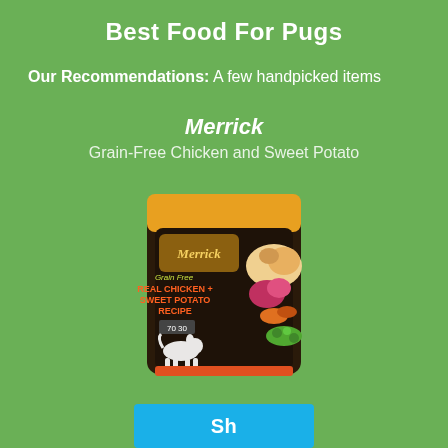Best Food For Pugs
Our Recommendations: A few handpicked items
Merrick
Grain-Free Chicken and Sweet Potato
[Figure (photo): Merrick Grain-Free Real Chicken + Sweet Potato Recipe dog food bag. Dark brown bag with orange/yellow top, featuring Merrick logo, product name, food imagery (chicken, sweet potato, vegetables), and a small white dog silhouette.]
Sh...